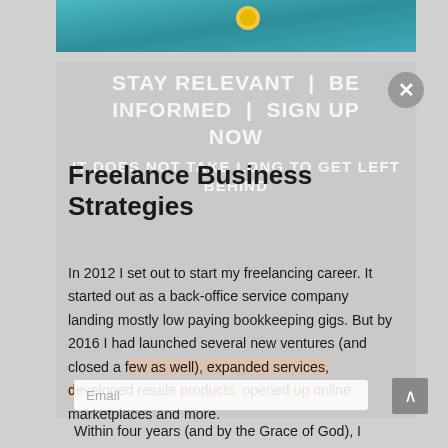[Figure (screenshot): Top teal/cyan banner image with a small yellow icon visible at the center top]
[Figure (screenshot): A modal/popup overlay with semi-transparent gray background containing newsletter signup text: STAY RELEVANT | BE INFORMED | SIGN UP NOW / IT DOES NOT TAKE LONG TO GET LEFT BEHIND, overlaid on article content. An X close button is visible top right.]
Freelance Business Strategies
In 2012 I set out to start my freelancing career. It started out as a back-office service company landing mostly low paying bookkeeping gigs. But by 2016 I had launched several new ventures (and closed a few as well), expanded services, developed resale products, opened up online marketplaces and more.
Within four years (and by the Grace of God), I